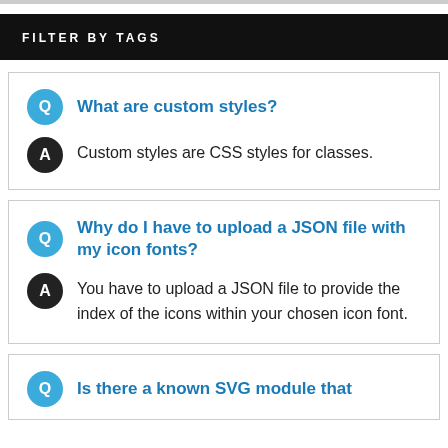FILTER BY TAGS
What are custom styles?
Custom styles are CSS styles for classes.
Why do I have to upload a JSON file with my icon fonts?
You have to upload a JSON file to provide the index of the icons within your chosen icon font.
Is there a known SVG module that